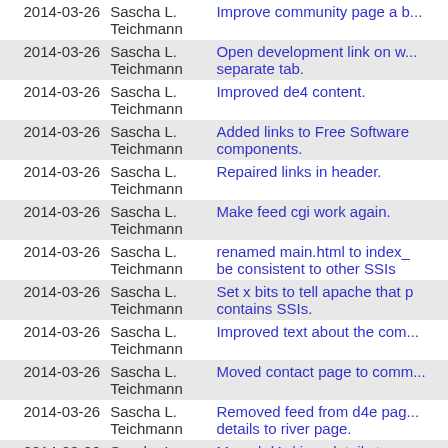| Date | Author | Message |
| --- | --- | --- |
| 2014-03-26 | Sascha L. Teichmann | Improve community page a b... |
| 2014-03-26 | Sascha L. Teichmann | Open development link on w... separate tab. |
| 2014-03-26 | Sascha L. Teichmann | Improved de4 content. |
| 2014-03-26 | Sascha L. Teichmann | Added links to Free Software components. |
| 2014-03-26 | Sascha L. Teichmann | Repaired links in header. |
| 2014-03-26 | Sascha L. Teichmann | Make feed cgi work again. |
| 2014-03-26 | Sascha L. Teichmann | renamed main.html to index_ be consistent to other SSIs |
| 2014-03-26 | Sascha L. Teichmann | Set x bits to tell apache that p contains SSIs. |
| 2014-03-26 | Sascha L. Teichmann | Improved text about the com... |
| 2014-03-26 | Sascha L. Teichmann | Moved contact page to comm... |
| 2014-03-26 | Sascha L. Teichmann | Removed feed from d4e pag... details to river page. |
| 2014-03-26 | Sascha L. Teichmann | Moved d4e/river details to se... |
| 2014-03-26 | Sascha L. Teichmann | Added old GNV page to repo... the main page. |
| 2014-03-26 | Sascha L. | Reordered footer. Remove in... |